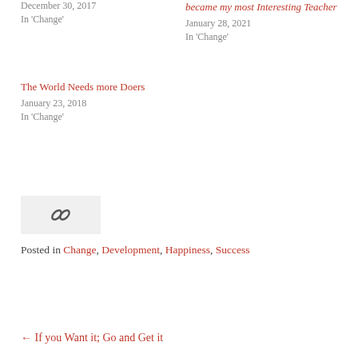December 30, 2017
In 'Change'
became my most Interesting Teacher
January 28, 2021
In 'Change'
The World Needs more Doers
January 23, 2018
In 'Change'
[Figure (illustration): Chain link icon on a light gray background]
Posted in Change, Development, Happiness, Success
← If you Want it; Go and Get it